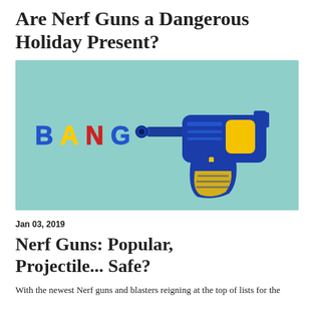Are Nerf Guns a Dangerous Holiday Present?
[Figure (photo): A blue and yellow toy gun on a teal/mint background, with colorful foam letters spelling BANG to the left of the barrel.]
Jan 03, 2019
Nerf Guns: Popular, Projectile... Safe?
With the newest Nerf guns and blasters reigning at the top of lists for the